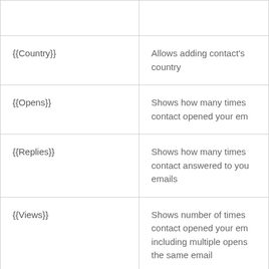| Variable | Description |
| --- | --- |
| {{Country}} | Allows adding contact's country |
| {{Opens}} | Shows how many times contact opened your em |
| {{Replies}} | Shows how many times contact answered to you emails |
| {{Views}} | Shows number of times contact opened your em including multiple opens the same email |